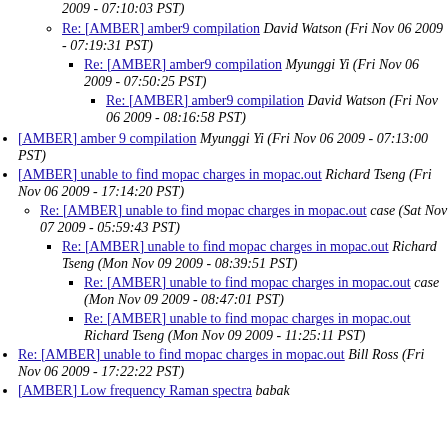2009 - 07:10:03 PST) [continuation]
Re: [AMBER] amber9 compilation David Watson (Fri Nov 06 2009 - 07:19:31 PST)
Re: [AMBER] amber9 compilation Myunggi Yi (Fri Nov 06 2009 - 07:50:25 PST)
Re: [AMBER] amber9 compilation David Watson (Fri Nov 06 2009 - 08:16:58 PST)
[AMBER] amber 9 compilation Myunggi Yi (Fri Nov 06 2009 - 07:13:00 PST)
[AMBER] unable to find mopac charges in mopac.out Richard Tseng (Fri Nov 06 2009 - 17:14:20 PST)
Re: [AMBER] unable to find mopac charges in mopac.out case (Sat Nov 07 2009 - 05:59:43 PST)
Re: [AMBER] unable to find mopac charges in mopac.out Richard Tseng (Mon Nov 09 2009 - 08:39:51 PST)
Re: [AMBER] unable to find mopac charges in mopac.out case (Mon Nov 09 2009 - 08:47:01 PST)
Re: [AMBER] unable to find mopac charges in mopac.out Richard Tseng (Mon Nov 09 2009 - 11:25:11 PST)
Re: [AMBER] unable to find mopac charges in mopac.out Bill Ross (Fri Nov 06 2009 - 17:22:22 PST)
[AMBER] Low frequency Raman spectra babak